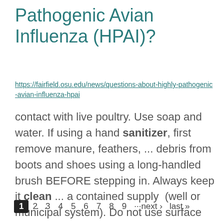Pathogenic Avian Influenza (HPAI)?
https://fairfield.osu.edu/news/questions-about-highly-pathogenic-avian-influenza-hpai
contact with live poultry. Use soap and water. If using a hand sanitizer, first remove manure, feathers, ... debris from boots and shoes using a long-handled brush BEFORE stepping in. Always keep it clean ... a contained supply (well or municipal system). Do not use surface water for drinking or cleaning. Clean and ...
1 2 3 4 5 6 7 8 9 ···next › last »